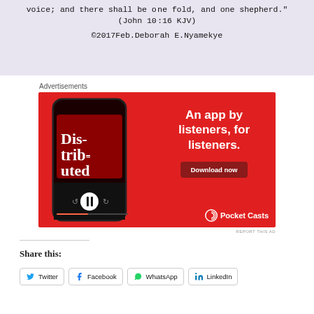voice; and there shall be one fold, and one shepherd." (John 10:16 KJV)
©2017Feb.Deborah E.Nyamekye
Advertisements
[Figure (screenshot): Pocket Casts advertisement banner: red background with a smartphone displaying a podcast app (Dis-trib-uted), text 'An app by listeners, for listeners.' with a 'Download now' button, and Pocket Casts logo at bottom right.]
REPORT THIS AD
Share this:
Twitter
Facebook
WhatsApp
LinkedIn